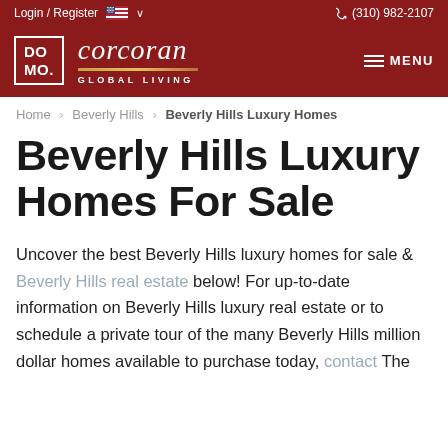Login / Register  (310) 982-2107
[Figure (logo): DOMO Corcoran Global Living logo on dark red background with hamburger menu icon]
Home > Beverly Hills > Beverly Hills Luxury Homes
Beverly Hills Luxury Homes For Sale
Uncover the best Beverly Hills luxury homes for sale & Beverly Hills real estate below! For up-to-date information on Beverly Hills luxury real estate or to schedule a private tour of the many Beverly Hills million dollar homes available to purchase today, contact The